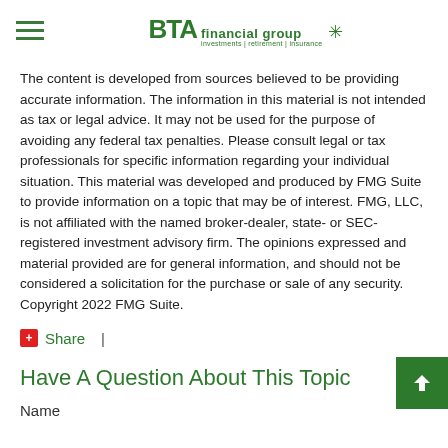BTA financial group | investments | retirement | insurance
The content is developed from sources believed to be providing accurate information. The information in this material is not intended as tax or legal advice. It may not be used for the purpose of avoiding any federal tax penalties. Please consult legal or tax professionals for specific information regarding your individual situation. This material was developed and produced by FMG Suite to provide information on a topic that may be of interest. FMG, LLC, is not affiliated with the named broker-dealer, state- or SEC-registered investment advisory firm. The opinions expressed and material provided are for general information, and should not be considered a solicitation for the purchase or sale of any security. Copyright 2022 FMG Suite.
Share  |
Have A Question About This Topic
Name